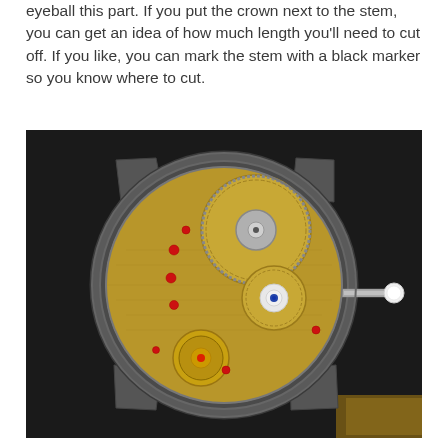eyeball this part. If you put the crown next to the stem, you can get an idea of how much length you'll need to cut off. If you like, you can mark the stem with a black marker so you know where to cut.
[Figure (photo): Close-up photo of the back of a watch movement exposed inside a watch case with lugs, showing gold-colored movement plate with gears, jewels (red), a crown/stem protruding from the right side with a white tip, on a dark gray background.]